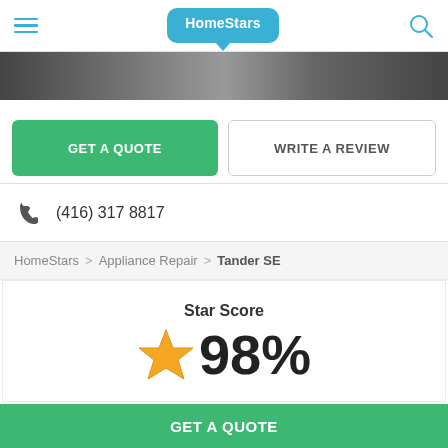HomeStars
[Figure (photo): Dark appliance banner image strip]
GET A QUOTE
WRITE A REVIEW
(416) 317 8817
HomeStars > Appliance Repair > Tander SE
Star Score
98%
Average Rating
GET A QUOTE